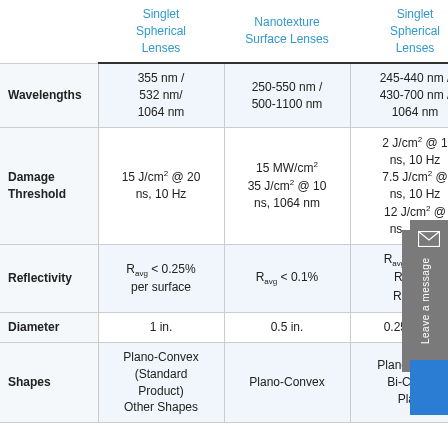|  | Singlet Spherical Lenses | Nanotexture Surface Lenses | Singlet Spherical Lenses |
| --- | --- | --- | --- |
| Wavelengths | 355 nm / 532 nm/ 1064 nm | 250-550 nm / 500-1100 nm | 245-440 nm / 430-700 nm / 1064 nm |
| Damage Threshold | 15 J/cm² @ 20 ns, 10 Hz | 15 MW/cm² 35 J/cm² @ 10 ns, 1064 nm | 2 J/cm² @ 1 ns, 10 Hz 7.5 J/cm² @ ns, 10 Hz 12 J/cm² @ ns, 10 Hz |
| Reflectivity | Ravg < 0.25% per surface | Ravg < 0.1% | Ravg < 0.5% Ravg < 0 Rmax < 0 |
| Diameter | 1 in. | 0.5 in. | 0.25 to 2 in. |
| Shapes | Plano-Convex (Standard Product) Other Shapes | Plano-Convex | Plano-Convex Bi-Convex Plano- |